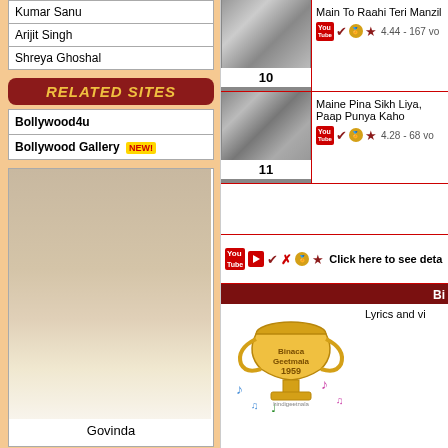Kumar Sanu
Arijit Singh
Shreya Ghoshal
RELATED SITES
Bollywood4u
Bollywood Gallery NEW!
[Figure (photo): Portrait photo of Govinda, Bollywood actor]
Govinda
[Figure (photo): Black and white film still, item 10 — Main To Raahi Teri Manzil]
Main To Raahi Teri Manzil
4.44 - 167 vo
[Figure (photo): Black and white film still, item 11 — Maine Pina Sikh Liya, Paap Punya Kaho]
Maine Pina Sikh Liya, Paap Punya Kaho
4.28 - 68 vo
Click here to see deta
Bi
Lyrics and vi
[Figure (illustration): Binaca Geetmala 1959 trophy graphic with musical notes]